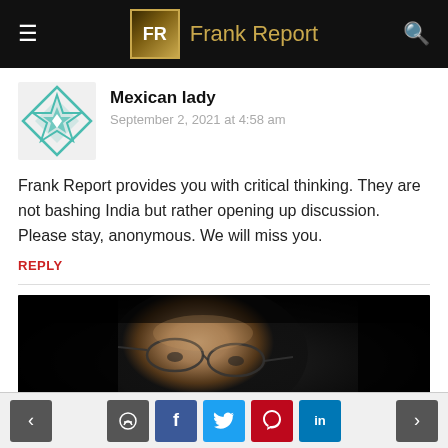Frank Report
Mexican lady
September 2, 2021 at 4:58 am
Frank Report provides you with critical thinking. They are not bashing India but rather opening up discussion. Please stay, anonymous. We will miss you.
REPLY
[Figure (photo): Close-up photograph of an older man with glasses, partially lit in dark/moody lighting]
< [chat] [f] [twitter] [pinterest] [in] >